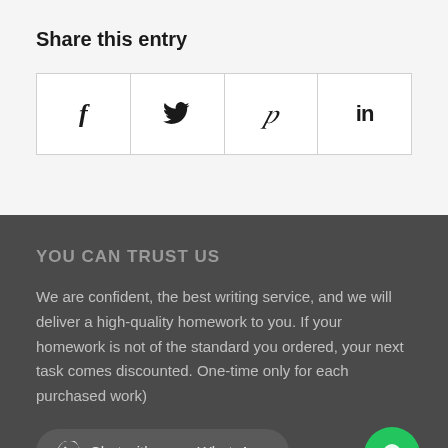Share this entry
[Figure (other): Social sharing buttons: Facebook (f), Twitter (bird icon), Pinterest (p), LinkedIn (in)]
YOU CAN TRUST US
We are confident, the best writing service, and we will deliver a high-quality homework to you. If your homework is not of the standard you ordered, your next task comes discounted. One-time only for each purchased work)
Chat with us on WhatsApp